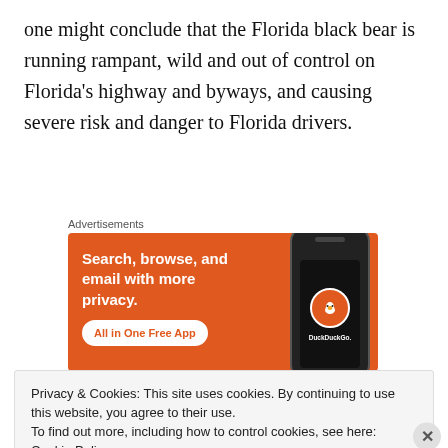one might conclude that the Florida black bear is running rampant, wild and out of control on Florida's highway and byways, and causing severe risk and danger to Florida drivers.
Advertisements
[Figure (screenshot): DuckDuckGo advertisement banner: orange background with text 'Search, browse, and email with more privacy. All in One Free App' and a phone image showing the DuckDuckGo logo.]
This is not to say that a human – bear conflict does not
Privacy & Cookies: This site uses cookies. By continuing to use this website, you agree to their use.
To find out more, including how to control cookies, see here: Cookie Policy
Close and accept